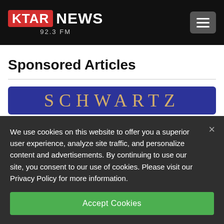[Figure (logo): KTAR News 92.3 FM logo with red box around KTAR and white NEWS text, on black header bar with hamburger menu button]
Sponsored Articles
[Figure (illustration): Dark blue banner with gold serif letters spelling SCHWARTZ]
We use cookies on this website to offer you a superior user experience, analyze site traffic, and personalize content and advertisements. By continuing to use our site, you consent to our use of cookies. Please visit our Privacy Policy for more information.
Accept Cookies